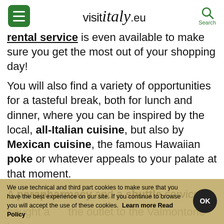visit italy .eu
rental service is even available to make sure you get the most out of your shopping day!
You will also find a variety of opportunities for a tasteful break, both for lunch and dinner, where you can be inspired by the local, all-Italian cuisine, but also by Mexican cuisine, the famous Hawaiian poke or whatever appeals to your palate at that moment.
A parapharmacy and a shuttle service
bought a ... the outlet to the Valmontone train ... 3 times a day also complete the ... f services. Yes, because ... is also convenient to get to the outlet in ju... ver half
We use technical and third part cookies to make sure that you have the best experience on our site. If you continue to browse you will accept the use of these cookies. Learn more Read Policy